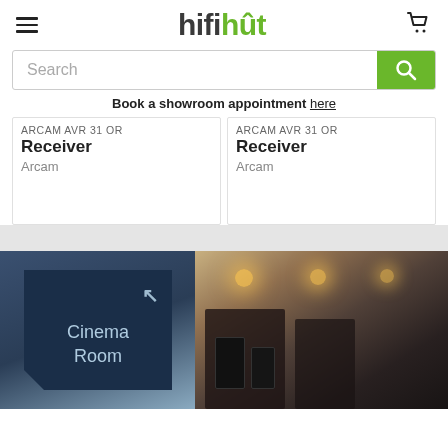[Figure (screenshot): Hifi Hut website header with hamburger menu, hifihut logo, and cart icon]
[Figure (screenshot): Search bar with text input and green search button]
Book a showroom  appointment here
Arcam AVR 31 or Receiver
Arcam
Arcam AVR 31 or Receiver
Arcam
[Figure (photo): Cinema Room sign with arrow, and blurred hi-fi showroom interior with speakers and shelving]